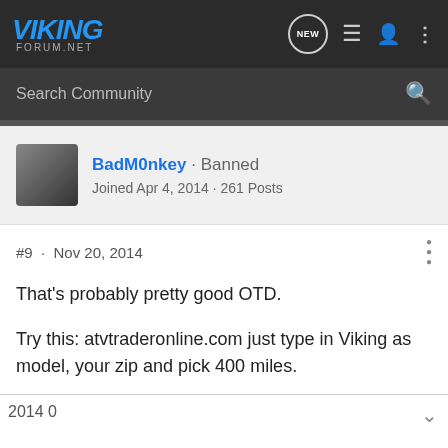VIKING FORUM.NET
Search Community
BadM0nkey · Banned
Joined Apr 4, 2014 · 261 Posts
#9 · Nov 20, 2014
That's probably pretty good OTD.

Try this: atvtraderonline.com just type in Viking as model, your zip and pick 400 miles.
[Figure (illustration): Yamaha Wolverine RMAX4 1000 XTR Edition advertisement banner]